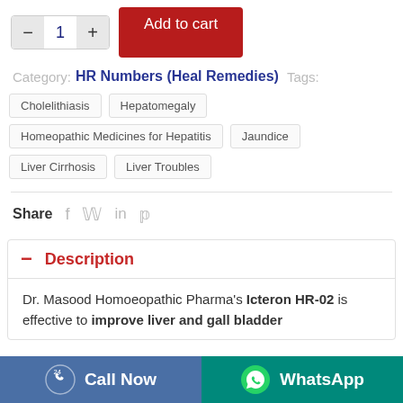[Figure (screenshot): Quantity selector with minus, 1, plus buttons and red Add to cart button]
Category: HR Numbers (Heal Remedies)   Tags:
Cholelithiasis
Hepatomegaly
Homeopathic Medicines for Hepatitis
Jaundice
Liver Cirrhosis
Liver Troubles
Share  f  𝕏  in  𝕡
Description
Dr. Masood Homoeopathic Pharma's Icteron HR-02 is effective to improve liver and gall bladder
[Figure (infographic): Bottom bar with Call Now (blue) and WhatsApp (teal) buttons]